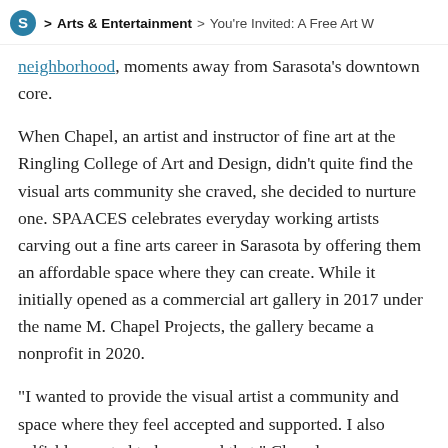S > Arts & Entertainment > You're Invited: A Free Art W
neighborhood, moments away from Sarasota's downtown core.
When Chapel, an artist and instructor of fine art at the Ringling College of Art and Design, didn't quite find the visual arts community she craved, she decided to nurture one. SPAACES celebrates everyday working artists carving out a fine arts career in Sarasota by offering them an affordable space where they can create. While it initially opened as a commercial art gallery in 2017 under the name M. Chapel Projects, the gallery became a nonprofit in 2020.
“I wanted to provide the visual artist a community and space where they feel accepted and supported. I also selfishly wanted to be around that,” Chapel says.